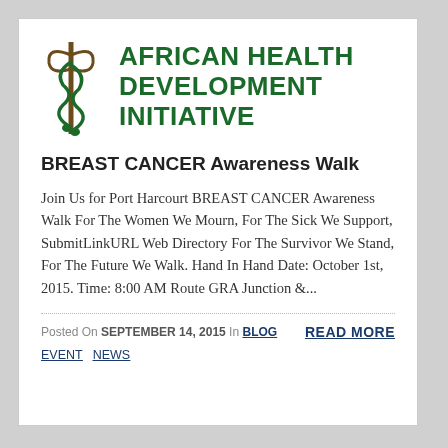[Figure (logo): African Health Development Initiative logo with caduceus/medical staff symbol on the left and organization name in bold green text on the right]
BREAST CANCER Awareness Walk
Join Us for Port Harcourt BREAST CANCER Awareness Walk For The Women We Mourn, For The Sick We Support, SubmitLinkURL Web Directory For The Survivor We Stand, For The Future We Walk. Hand In Hand Date: October 1st, 2015. Time: 8:00 AM Route GRA Junction &...
Posted On SEPTEMBER 14, 2015 In BLOG
READ MORE
EVENT  NEWS